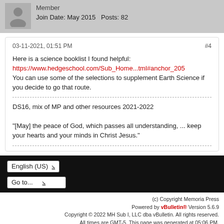Member
Join Date: May 2015   Posts: 82
03-11-2021, 01:51 PM
#4
Here is a science booklist I found helpful:
https://www.hedgeschool.com/Sub_Home...tml#anchor_205
You can use some of the selections to supplement Earth Science if you decide to go that route.
DS16, mix of MP and other resources 2021-2022

"[May] the peace of God, which passes all understanding, ... keep your hearts and your minds in Christ Jesus."
English (US) ∨
Go to... ∨
(c) Copyright Memoria Press
Powered by vBulletin® Version 5.6.9
Copyright © 2022 MH Sub I, LLC dba vBulletin. All rights reserved.
All times are GMT-5. This page was generated at 05:06 PM.